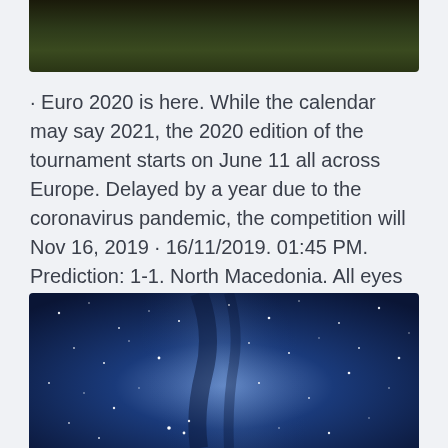[Figure (photo): Dark forest/nature image at top of page]
· Euro 2020 is here. While the calendar may say 2021, the 2020 edition of the tournament starts on June 11 all across Europe. Delayed by a year due to the coronavirus pandemic, the competition will Nov 16, 2019 · 16/11/2019. 01:45 PM. Prediction: 1-1. North Macedonia. All eyes will be on Ernst-Happel-Stadion when Austria and North Macedonia face each other in the Euro 2020 qualifiers on Saturday.
[Figure (photo): Night sky with stars and Milky Way galaxy at bottom of page]